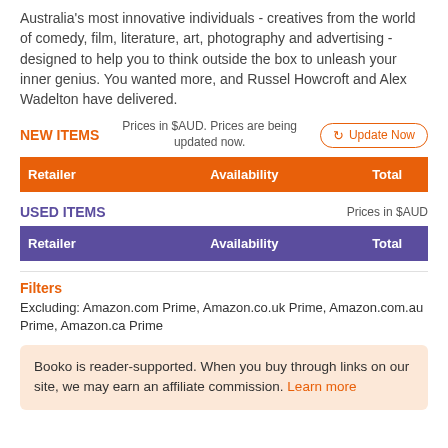Australia's most innovative individuals - creatives from the world of comedy, film, literature, art, photography and advertising - designed to help you to think outside the box to unleash your inner genius. You wanted more, and Russel Howcroft and Alex Wadelton have delivered.
NEW ITEMS  Prices in $AUD. Prices are being updated now.  Update Now
| Retailer | Availability | Total |
| --- | --- | --- |
USED ITEMS  Prices in $AUD
| Retailer | Availability | Total |
| --- | --- | --- |
Filters
Excluding: Amazon.com Prime, Amazon.co.uk Prime, Amazon.com.au Prime, Amazon.ca Prime
Booko is reader-supported. When you buy through links on our site, we may earn an affiliate commission. Learn more